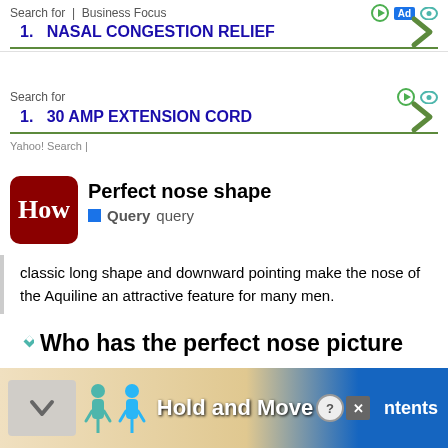Search for | Business Focus
1. NASAL CONGESTION RELIEF
Search for
1. 30 AMP EXTENSION CORD
Yahoo! Search |
[Figure (logo): How logo - red rounded square with white letter H]
Perfect nose shape
Query  query
classic long shape and downward pointing make the nose of the Aquiline an attractive feature for many men.
Who has the perfect nose picture
“Kylie is the most quoted celebrity,” David Hartman, MD, a maxillofacial plastic surgeon in Dover, Ohio, adds to her face, especially her eyes and lips.
[Figure (photo): Photo of outdoor light fixture with bulb]
Homeowners Are Trading in Their Doorbell Cams for This.
Keilini | Sponsored
[Figure (infographic): Bottom banner ad with blue figures and Hold and Move text, ntents label in blue]
Hold and Move
ntents